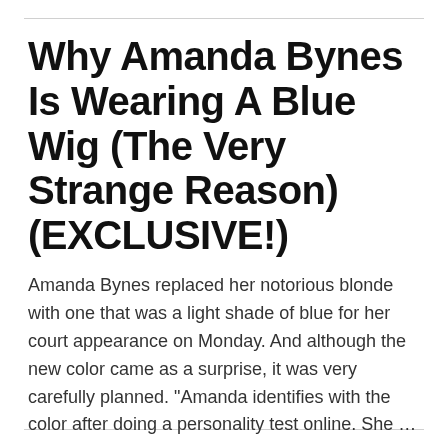Why Amanda Bynes Is Wearing A Blue Wig (The Very Strange Reason) (EXCLUSIVE!)
Amanda Bynes replaced her notorious blonde with one that was a light shade of blue for her court appearance on Monday. And although the new color came as a surprise, it was very carefully planned. "Amanda identifies with the color after doing a personality test online. She … [Read more...]